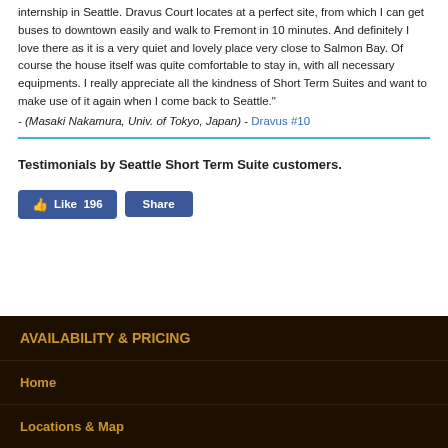internship in Seattle. Dravus Court locates at a perfect site, from which I can get buses to downtown easily and walk to Fremont in 10 minutes. And definitely I love there as it is a very quiet and lovely place very close to Salmon Bay. Of course the house itself was quite comfortable to stay in, with all necessary equipments. I really appreciate all the kindness of Short Term Suites and want to make use of it again when I come back to Seattle." - (Masaki Nakamura, Univ. of Tokyo, Japan) - Dravus #10
Testimonials by Seattle Short Term Suite customers.
[Figure (screenshot): Facebook Like (196) and Share buttons]
AVAILABILITY & PRICING
Home
Locations & Map